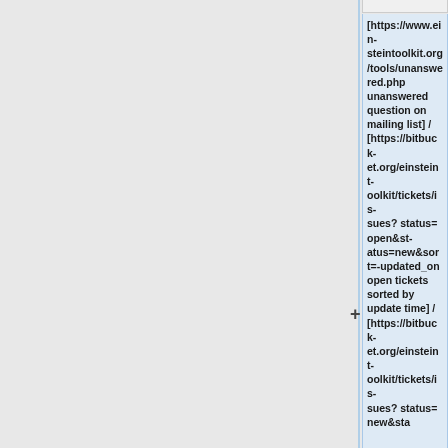[https://www.einsteintoolkit.org/tools/unanswered.php unanswered question on mailing list] / [https://bitbucket.org/einsteintoolkit/tickets/issues?status=open&status=new&sort=-updated_on open tickets sorted by update time] / [https://bitbucket.org/einsteintoolkit/tickets/issues?status=new&sta